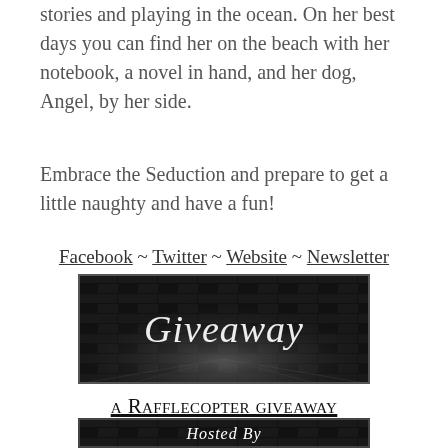stories and playing in the ocean. On her best days you can find her on the beach with her notebook, a novel in hand, and her dog, Angel, by her side.
Embrace the Seduction and prepare to get a little naughty and have a fun!
Facebook ~ Twitter ~ Website ~ Newsletter
[Figure (illustration): Black banner image with stylized script text reading 'Giveaway' in white against a dark brick and floor background with dramatic lighting]
a Rafflecopter giveaway
[Figure (illustration): Black banner image with stylized script text reading 'Hosted By' in white against a dark brick background]